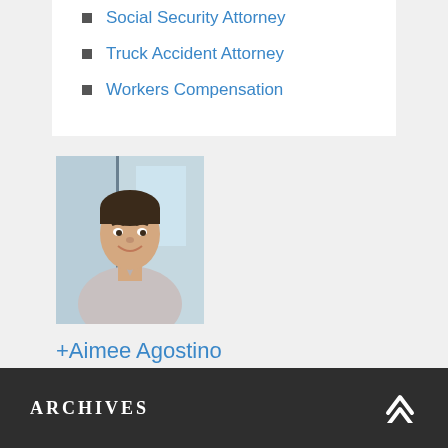Social Security Attorney
Truck Accident Attorney
Workers Compensation
[Figure (photo): Professional headshot of a man in a light grey v-neck sweater, smiling, with a blurred office background]
+Aimee Agostino
ARCHIVES